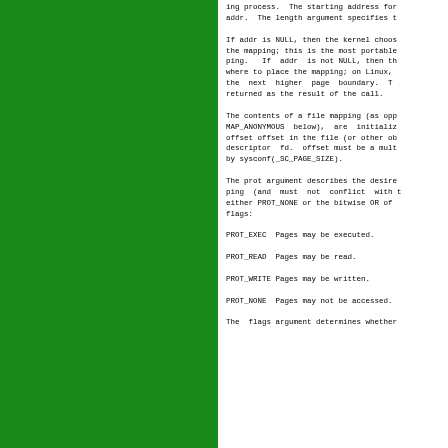ing process.  The starting address for addr.  The length argument specifies t

If addr is NULL, then the kernel choos the mapping; this is the most portable ping.   If  addr  is not NULL, then th where to place the mapping; on Linux, the  next  higher  page  boundary.  T returned as the result of the call.

The contents of a file mapping (as opp MAP_ANONYMOUS  below),  are  initializ offset offset in the file (or other ob descriptor  fd.  offset must be a mult by sysconf(_SC_PAGE_SIZE).

The prot argument describes the desire ping  (and  must  not  conflict  with  t either PROT_NONE or the bitwise OR of flags:

PROT_EXEC  Pages may be executed.

PROT_READ  Pages may be read.

PROT_WRITE Pages may be written.

PROT_NONE  Pages may not be accessed.

The  flags argument determines whether